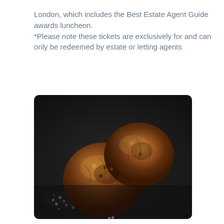London, which includes the Best Estate Agent Guide awards luncheon.
*Please note these tickets are exclusively for and can only be redeemed by estate or letting agents
[Figure (photo): Close-up photo of two grilled or roasted mushrooms on a skewer, with a dark background and scattered peppercorns visible.]